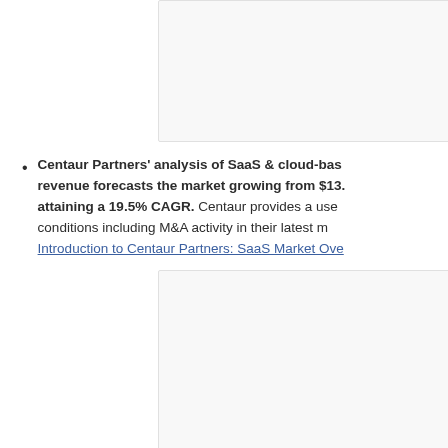[Figure (other): Image or chart placeholder box (top)]
Centaur Partners' analysis of SaaS & cloud-based revenue forecasts the market growing from $13. attaining a 19.5% CAGR. Centaur provides a use conditions including M&A activity in their latest m Introduction to Centaur Partners: SaaS Market Ove
[Figure (other): Image or chart placeholder box (bottom)]